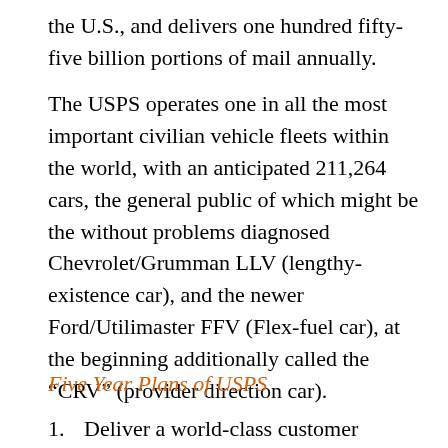the U.S., and delivers one hundred fifty-five billion portions of mail annually.
The USPS operates one in all the most important civilian vehicle fleets within the world, with an anticipated 211,264 cars, the general public of which might be the without problems diagnosed Chevrolet/Grumman LLV (lengthy-existence car), and the newer Ford/Utilimaster FFV (Flex-fuel car), at the beginning additionally called the “CRV” (provider direction car).
Five Year Plans of USPS
Deliver a world-class customer